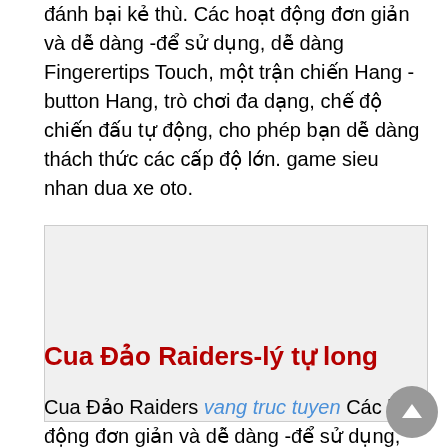đánh bại kẻ thù. Các hoạt động đơn giản và dễ dàng -để sử dụng, dễ dàng Fingerertips Touch, một trận chiến Hang -button Hang, trò chơi đa dạng, chế độ chiến đấu tự động, cho phép bạn dễ dàng thách thức các cấp độ lớn. game sieu nhan dua xe oto.
[Figure (other): Gray placeholder image block]
Cua Đảo Raiders-lý tự long
Cua Đảo Raiders vang truc tuyen Các hoạt động đơn giản và dễ dàng -để sử dụng, dễ dàng